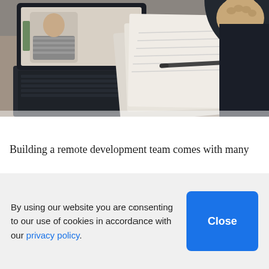[Figure (photo): Overhead view of a person on a video call via laptop. The laptop screen shows another person in a striped shirt. Papers/notebooks with a pen are spread on the desk. A hand in a dark sleeve is visible in the upper right corner.]
Building a remote development team comes with many
By using our website you are consenting to our use of cookies in accordance with our privacy policy.